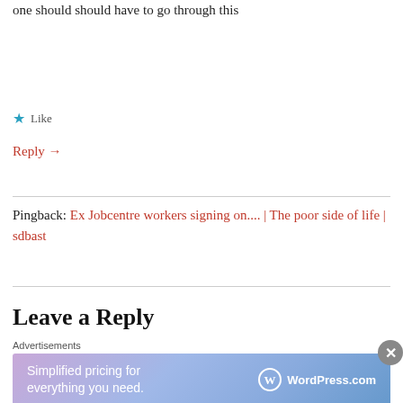one should should have to go through this
★ Like
Reply →
Pingback: Ex Jobcentre workers signing on.... | The poor side of life | sdbast
Leave a Reply
[Figure (infographic): WordPress.com advertisement banner: 'Simplified pricing for everything you need.' with WordPress.com logo on gradient purple-blue background]